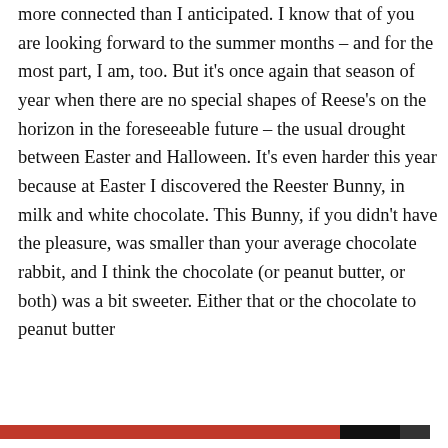more connected than I anticipated. I know that of you are looking forward to the summer months – and for the most part, I am, too. But it's once again that season of year when there are no special shapes of Reese's on the horizon in the foreseeable future – the usual drought between Easter and Halloween. It's even harder this year because at Easter I discovered the Reester Bunny, in milk and white chocolate. This Bunny, if you didn't have the pleasure, was smaller than your average chocolate rabbit, and I think the chocolate (or peanut butter, or both) was a bit sweeter. Either that or the chocolate to peanut butter
Privacy & Cookies: This site uses cookies. By continuing to use this website, you agree to their use.
To find out more, including how to control cookies, see here: Cookie Policy